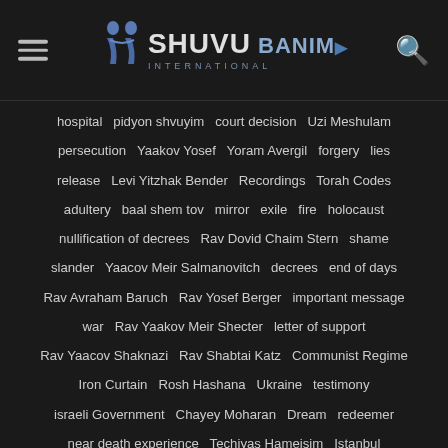Shuvu Banim International
hospital  pidyon shvuyim  court decision  Uzi Meshulam  persecution  Yaakov Yosef  Yoram Avergil  forgery  lies  release  Levi Yitzhak Bender  Recordings  Torah Codes  adultery  baal shem tov  mirror  exile  fire  holocaust  nullification of decrees  Rav Dovid Chaim Stern  shame  slander  Yaacov Meir Salmanovitch  decrees  end of days  Rav Avraham Baruch  Rav Yosef Berger  important message  war  Rav Yaakov Meir Shecter  letter of support  Rav Yaacov Shaknazi  Rav Shabtai Katz  Communist Regime  Iron Curtain  Rosh Hashana  Ukraine  testimony  israeli Government  Chayey Moharan  Dream  redeemer  near death experience  Techiyas Hameisim  Istanbul  Tzalmon Prison  kabbalists  apocalypse  Prophecy  france  Rav Shimon Shapira  Russia  USSR  Ben Tzion Aba Shaul  Rav Yosef Palvani  opposition  machloket  Journal  Resurrection of the Dead  Savaran  Spole Zeide  Tikkun Olam  Tikun Haklali Olami  Ammunition Hill  Jerusalem terrorist attack  Chaim Reicher  Baba Sali  Mordechai Eliyahu  arrest without trial  guilty until proven innocent